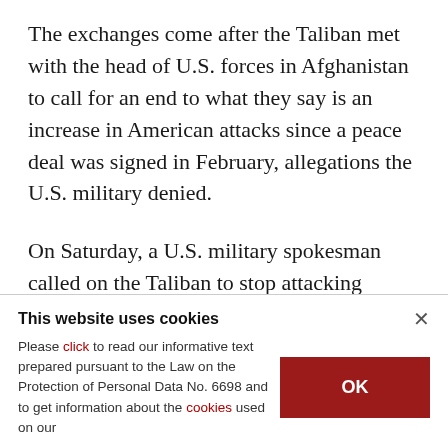The exchanges come after the Taliban met with the head of U.S. forces in Afghanistan to call for an end to what they say is an increase in American attacks since a peace deal was signed in February, allegations the U.S. military denied.
On Saturday, a U.S. military spokesman called on the Taliban to stop attacking Afghan security forces, whom he said American troops would continue to aid in accordance with the agreement
This website uses cookies
Please click to read our informative text prepared pursuant to the Law on the Protection of Personal Data No. 6698 and to get information about the cookies used on our